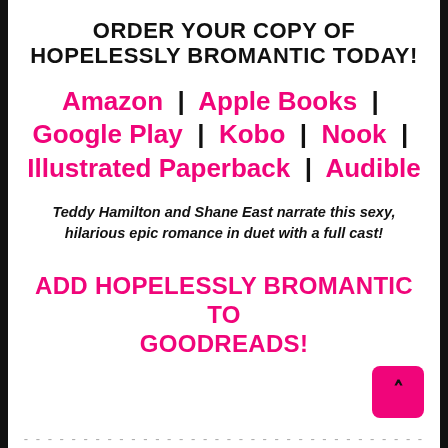ORDER YOUR COPY OF HOPELESSLY BROMANTIC TODAY!
Amazon | Apple Books | Google Play | Kobo | Nook | Illustrated Paperback | Audible
Teddy Hamilton and Shane East narrate this sexy, hilarious epic romance in duet with a full cast!
ADD HOPELESSLY BROMANTIC TO GOODREADS!